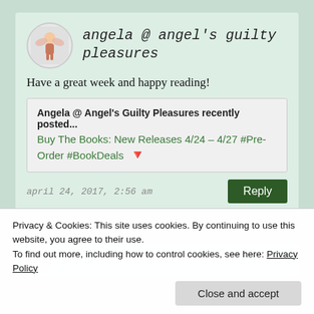angela @ angel's guilty pleasures
Have a great week and happy reading!
Angela @ Angel's Guilty Pleasures recently posted... Buy The Books: New Releases 4/24 – 4/27 #Pre-Order #BookDeals
april 24, 2017, 2:56 am
Reply
Privacy & Cookies: This site uses cookies. By continuing to use this website, you agree to their use.
To find out more, including how to control cookies, see here: Privacy Policy
Close and accept